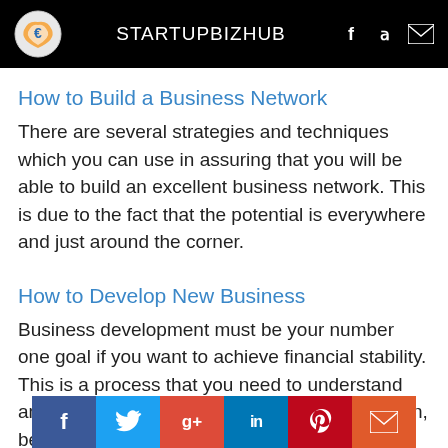STARTUPBIZHUB
How to Build a Business Network
There are several strategies and techniques which you can use in assuring that you will be able to build an excellent business network. This is due to the fact that the potential is everywhere and just around the corner.
How to Develop New Business
Business development must be your number one goal if you want to achieve financial stability. This is a process that you need to understand and to apply as well as the benefits you will gain, be